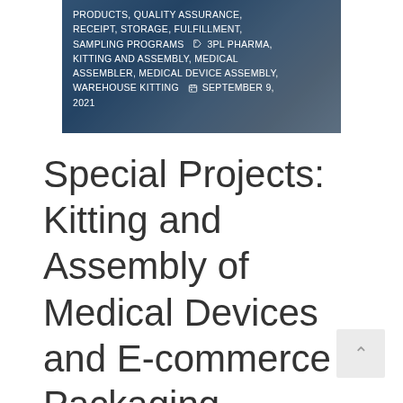[Figure (photo): Photo of medical/warehouse setting with dark overlay showing tag and calendar metadata text]
PRODUCTS, QUALITY ASSURANCE, RECEIPT, STORAGE, FULFILLMENT, SAMPLING PROGRAMS 🏷 3PL PHARMA, KITTING AND ASSEMBLY, MEDICAL ASSEMBLER, MEDICAL DEVICE ASSEMBLY, WAREHOUSE KITTING 📅 SEPTEMBER 9, 2021
Special Projects: Kitting and Assembly of Medical Devices and E-commerce Packaging